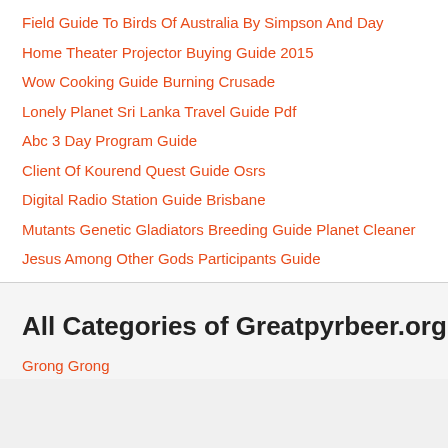Field Guide To Birds Of Australia By Simpson And Day
Home Theater Projector Buying Guide 2015
Wow Cooking Guide Burning Crusade
Lonely Planet Sri Lanka Travel Guide Pdf
Abc 3 Day Program Guide
Client Of Kourend Quest Guide Osrs
Digital Radio Station Guide Brisbane
Mutants Genetic Gladiators Breeding Guide Planet Cleaner
Jesus Among Other Gods Participants Guide
All Categories of Greatpyrbeer.org
Grong Grong